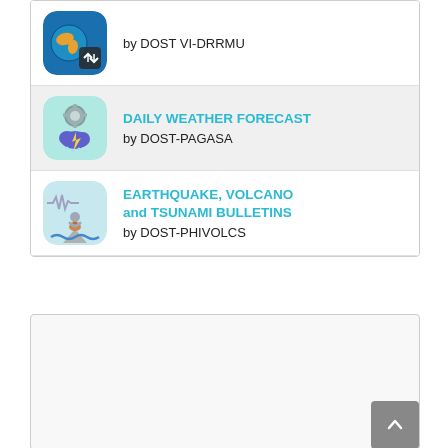[Figure (screenshot): App icon for DOST VI-DRRMU — globe with disaster response imagery]
by DOST VI-DRRMU
[Figure (screenshot): App icon for DOST-PAGASA — weather/lightning cloud with gear symbol]
DAILY WEATHER FORECAST by DOST-PAGASA
[Figure (screenshot): App icon for DOST-PHIVOLCS — earthquake/volcano/tsunami imagery]
EARTHQUAKE, VOLCANO and TSUNAMI BULLETINS by DOST-PHIVOLCS